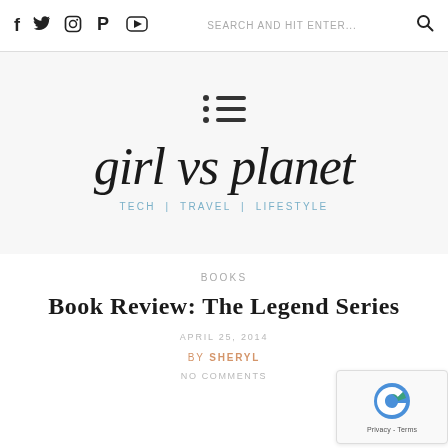f  twitter  instagram  pinterest  youtube  SEARCH AND HIT ENTER...  🔍
[Figure (logo): Navigation menu icon with three dot-line rows, and blog logo 'girl vs planet' in handwritten italic script with tagline TECH | TRAVEL | LIFESTYLE]
BOOKS
Book Review: The Legend Series
APRIL 25, 2014
BY SHERYL
NO COMMENTS